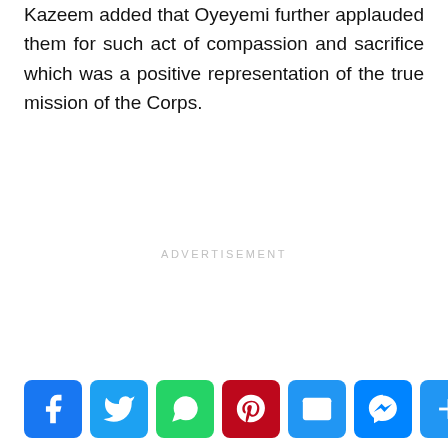Kazeem added that Oyeyemi further applauded them for such act of compassion and sacrifice which was a positive representation of the true mission of the Corps.
ADVERTISEMENT
[Figure (other): Social media sharing buttons: Facebook, Twitter, WhatsApp, Pinterest, Email, Messenger, Share]